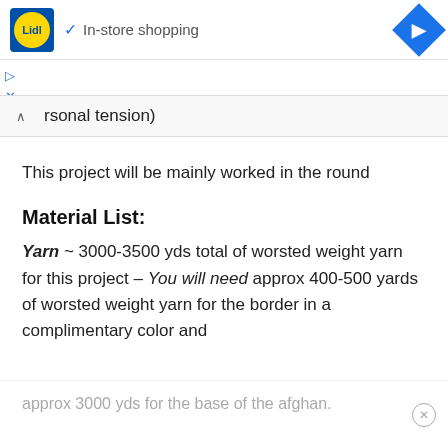[Figure (logo): Lidl store logo with yellow circle on blue square background, checkmark and 'In-store shopping' text, blue diamond navigation arrow on right]
rsonal tension)
This project will be mainly worked in the round
Material List:
Yarn ~ 3000-3500 yds total of worsted weight yarn for this project – You will need approx 400-500 yards of worsted weight yarn for the border in a complimentary color and
approx 3000 yds for the base of the afghan.